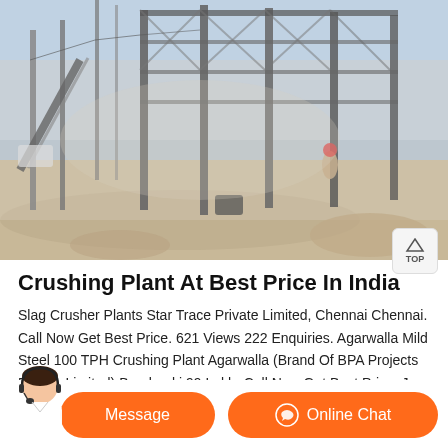[Figure (photo): Industrial crushing plant / construction site with steel structures, utility poles, dust in the air, and workers visible in the background on a dusty terrain.]
Crushing Plant At Best Price In India
Slag Crusher Plants Star Trace Private Limited, Chennai Chennai. Call Now Get Best Price. 621 Views 222 Enquiries. Agarwalla Mild Steel 100 TPH Crushing Plant Agarwalla (Brand Of BPA Projects Private Limited) Barabanki 99 Lakh. Call Now Get Best Price. Jaw Crusher Mild Steel 30TPH Crushing Plant. For